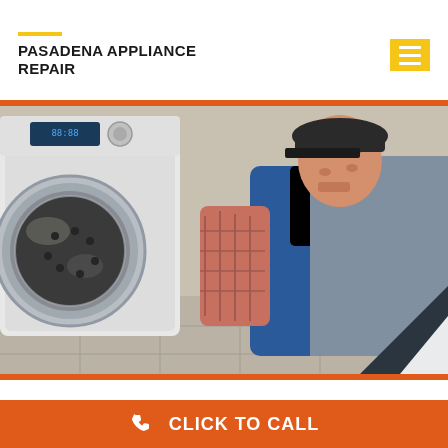PASADENA APPLIANCE REPAIR
[Figure (photo): Technician in blue overalls and plaid shirt crouching down to repair a front-load washing machine, holding a wrench near the drum door]
Viking Dryer Service
CLICK TO CALL